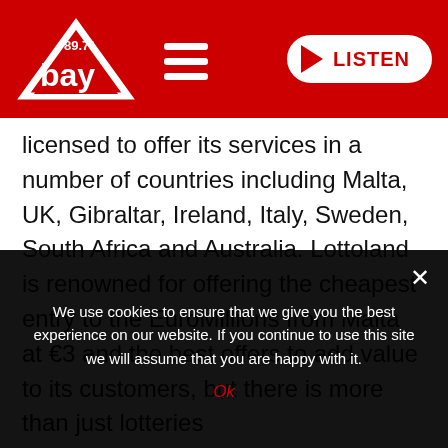[Figure (logo): 89.7 Bay radio logo with hamburger menu icon on red header background]
[Figure (other): Listen button with play icon on red header]
licensed to offer its services in a number of countries including Malta, UK, Gibraltar, Ireland, Italy, Sweden, South Africa and Australia. Lottoland is renowned for offering the cheapest entry to the EuroMillions from Malta at €3 and the best offers to add value to its customers, but there is more than just lotteries available, including slot games, live casino scratch cards, and more.
We use cookies to ensure that we give you the best experience on our website. If you continue to use this site we will assume that you are happy with it.
Ok